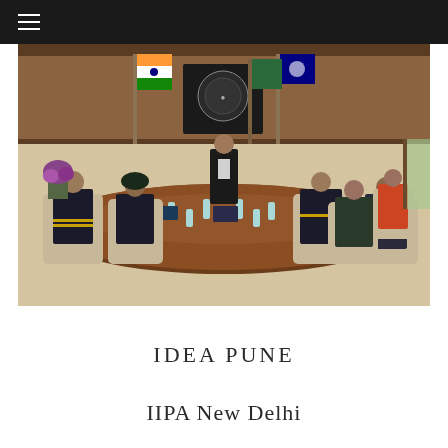☰ (hamburger menu)
[Figure (photo): A formal meeting room scene showing military/naval officers and officials seated around a large conference table with water bottles. A man in a black suit stands at the head of the table. Indian flags (tri-color) and other flags are visible in the background along with a dark wooden wall and a mounted emblem/plaque. The setting appears to be an official government or defense meeting room.]
IDEA PUNE
IIPA New Delhi